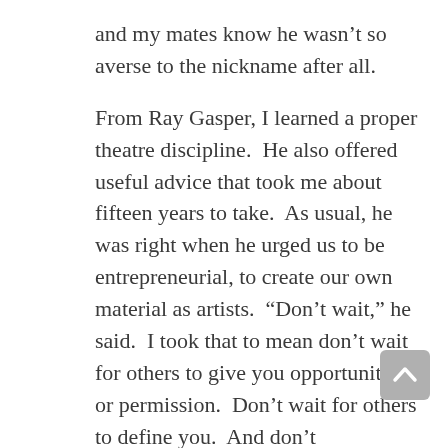and my mates know he wasn't so averse to the nickname after all.
From Ray Gasper, I learned a proper theatre discipline.  He also offered useful advice that took me about fifteen years to take.  As usual, he was right when he urged us to be entrepreneurial, to create our own material as artists.  “Don’t wait,” he said.  I took that to mean don’t wait for others to give you opportunity – or permission.  Don’t wait for others to define you.  And don’t